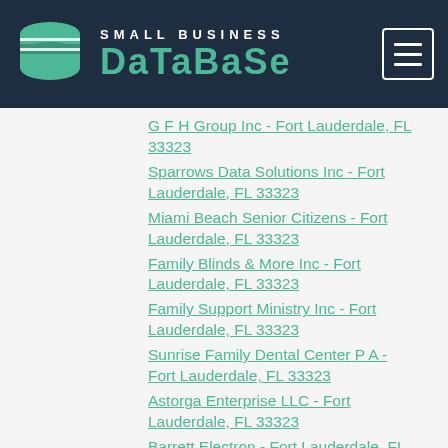SMALL BUSINESS DATABASE
G F H Group Inc - Fort Lauderdale, FL 33323
Sparrows Data Solutions Inc - Fort Lauderdale, FL 33323
Miami Beach Senior Citizens - Fort Lauderdale, FL 33323
Family Blinds & More Inc - Fort Lauderdale, FL 33323
Family Support Ministry Inc - Fort Lauderdale, FL 33323
Sunrise Family Dental Center P A - Fort Lauderdale, FL 33323
Astorga Enterprise LLC - Fort Lauderdale, FL 33323
Barrett Electron - Fort Lauderdale, FL 33323
Need A Don't Lawyer - Fort Lauderdale, FL 33323